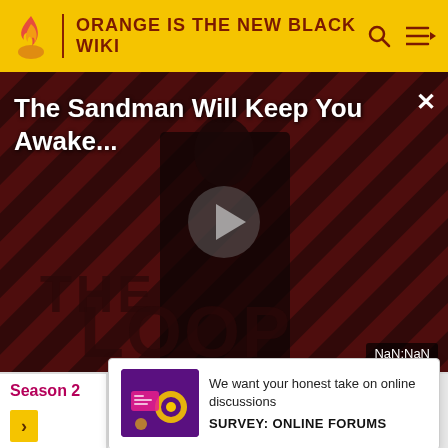ORANGE IS THE NEW BLACK WIKI
[Figure (screenshot): Video player with dark diagonal striped background showing a figure dressed in black. Title text reads 'The Sandman Will Keep You Awake...' with a play button in the center and 'THE LOOP' watermark. NaN:NaN timer shown in bottom right.]
The Sandman Will Keep You Awake...
NaN:NaN
Season 2
Thirsty Bird • Looks Blue, Tastes Red • Hugs Can Be Deceiving • A
We want your honest take on online discussions
SURVEY: ONLINE FORUMS